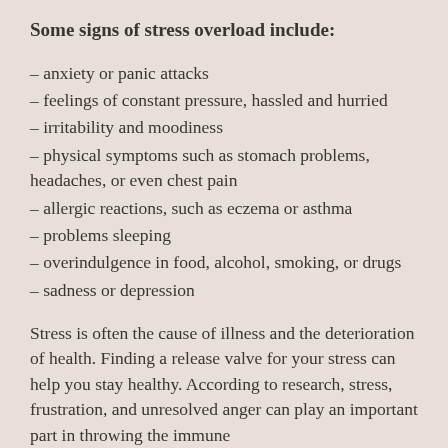Some signs of stress overload include:
– anxiety or panic attacks
– feelings of constant pressure, hassled and hurried
– irritability and moodiness
– physical symptoms such as stomach problems, headaches, or even chest pain
– allergic reactions, such as eczema or asthma
– problems sleeping
– overindulgence in food, alcohol, smoking, or drugs
– sadness or depression
Stress is often the cause of illness and the deterioration of health. Finding a release valve for your stress can help you stay healthy. According to research, stress, frustration, and unresolved anger can play an important part in throwing the immune